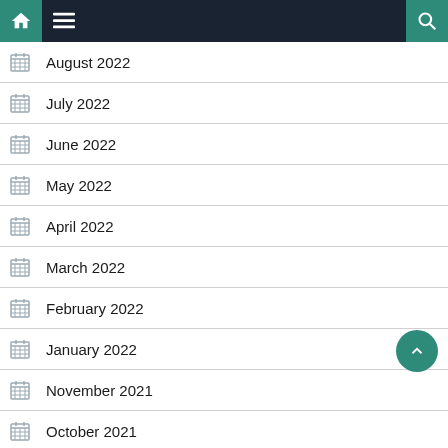Navigation bar with home, menu, and search icons
August 2022
July 2022
June 2022
May 2022
April 2022
March 2022
February 2022
January 2022
November 2021
October 2021